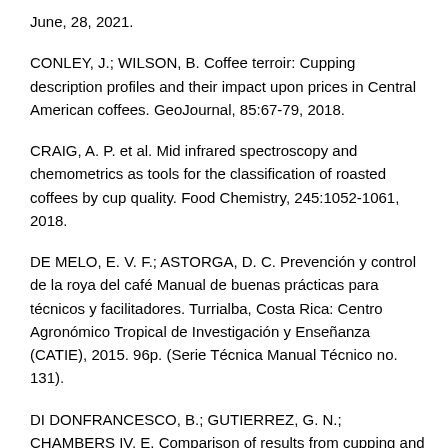June, 28, 2021.
CONLEY, J.; WILSON, B. Coffee terroir: Cupping description profiles and their impact upon prices in Central American coffees. GeoJournal, 85:67-79, 2018.
CRAIG, A. P. et al. Mid infrared spectroscopy and chemometrics as tools for the classification of roasted coffees by cup quality. Food Chemistry, 245:1052-1061, 2018.
DE MELO, E. V. F.; ASTORGA, D. C. Prevención y control de la roya del café Manual de buenas prácticas para técnicos y facilitadores. Turrialba, Costa Rica: Centro Agronómico Tropical de Investigación y Enseñanza (CATIE), 2015. 96p. (Serie Técnica Manual Técnico no. 131).
DI DONFRANCESCO, B.; GUTIERREZ, G. N.; CHAMBERS IV, E. Comparison of results from cupping and descriptive Sensory analysis of Colombian brewed coffee. Journal of Sensory Studies,